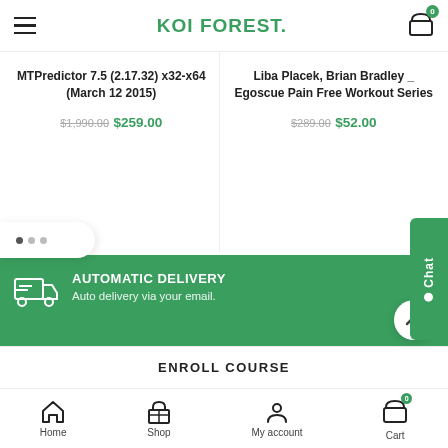KOI FOREST.
MTPredictor 7.5 (2.17.32) x32-x64 (March 12 2015) $1,990.00 $259.00
Liba Placek, Brian Bradley _ Egoscue Pain Free Workout Series $289.00 $52.00
AUTOMATIC DELIVERY
Auto delivery via your email.
ONLINE PAYMENT
Secure Payment with Paypal & Stripe.
ENROLL COURSE
Home  Shop  My account  Cart